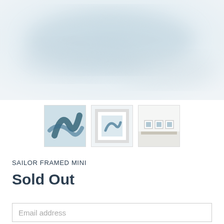[Figure (photo): Abstract blurred light blue and grey artwork, close-up view used as main product image]
[Figure (photo): Three product thumbnail images: abstract dark teal art print, framed mini print in white frame, lifestyle room setting with three small framed prints on a shelf]
SAILOR FRAMED MINI
Sold Out
Email address